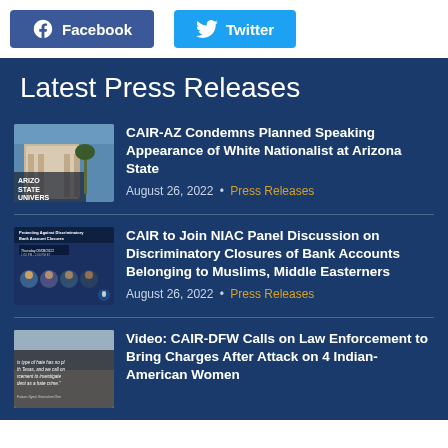[Figure (infographic): Facebook and Twitter social share buttons side by side]
Latest Press Releases
[Figure (photo): Arizona State University sign with building in background]
CAIR-AZ Condemns Planned Speaking Appearance of White Nationalist at Arizona State
August 26, 2022 • Press Releases
[Figure (infographic): Panel event graphic: Protecting Against Discriminatory Bank Account Closures, Thursday 09/08/2022]
CAIR to Join NIAC Panel Discussion on Discriminatory Closures of Bank Accounts Belonging to Muslims, Middle Easterners
August 26, 2022 • Press Releases
[Figure (photo): Photo with text overlay: 'this type of hate has no place in North Texas, and we call on law enforcement to investigate the incident as a hate crime.' - Faizan Syed, Executive Director]
Video: CAIR-DFW Calls on Law Enforcement to Bring Charges After Attack on 4 Indian-American Women